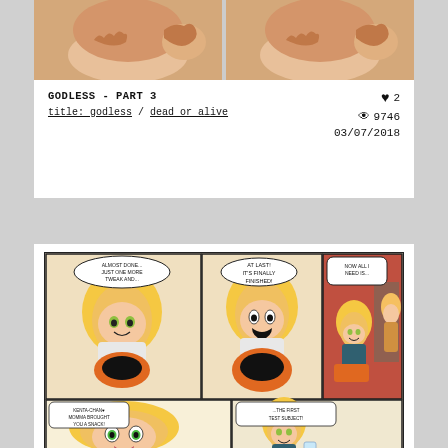[Figure (illustration): Cropped anime/illustration image showing two mirrored panels of a character's torso/legs area, top portion of a comic card]
GODLESS - PART 3
title: godless / dead or alive
♥ 2
👁 9746
03/07/2018
[Figure (illustration): Anime-style comic page showing a blonde male character working on a robotic/mechanical object across multiple panels, and in the bottom panels a blonde female character appears saying 'KENTA-CHAN♥ MOMMA BROUGHT YOU A SNACK!' with a response panel '...THE FIRST TEST SUBJECT!']